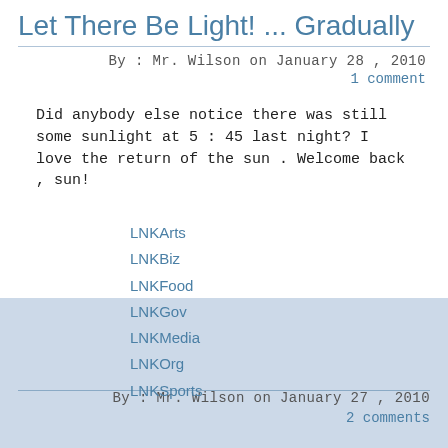Let There Be Light! ... Gradually
By: Mr. Wilson on January 28, 2010
1 comment
Did anybody else notice there was still some sunlight at 5:45 last night? I love the return of the sun. Welcome back, sun!
LNKArts
LNKBiz
LNKFood
LNKGov
LNKMedia
LNKOrg
LNKSports
Ten Days Into My Food Experiment
By: Mr. Wilson on January 27, 2010
2 comments